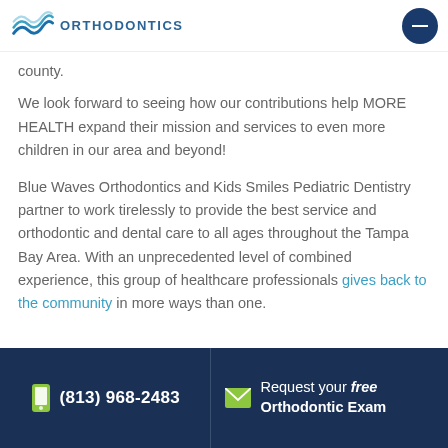ORTHODONTICS
county.
We look forward to seeing how our contributions help MORE HEALTH expand their mission and services to even more children in our area and beyond!
Blue Waves Orthodontics and Kids Smiles Pediatric Dentistry partner to work tirelessly to provide the best service and orthodontic and dental care to all ages throughout the Tampa Bay Area. With an unprecedented level of combined experience, this group of healthcare professionals gives back to the community in more ways than one.
(813) 968-2483 | Request your free Orthodontic Exam